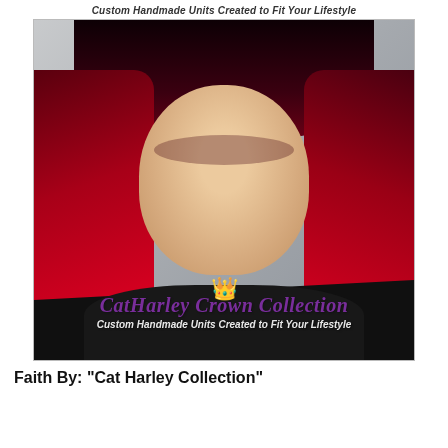Custom Handmade Units Created to Fit Your Lifestyle
[Figure (photo): Woman wearing a red and dark ombre bob wig styled by Cat Harley Crown Collection, with watermark overlay showing brand name, crown logo, and tagline 'Custom Handmade Units Created to Fit Your Lifestyle']
Faith By: "Cat Harley Collection"